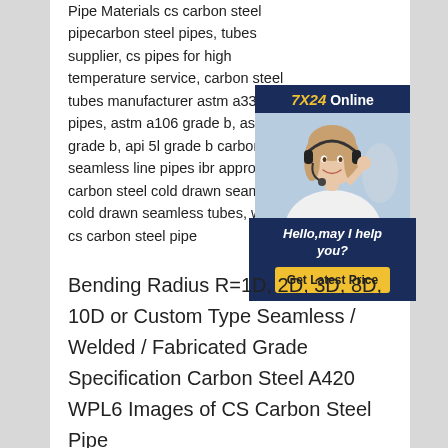Pipe Materials cs carbon steel pipecarbon steel pipes, tubes supplier, cs pipes for high temperature service, carbon steel tubes manufacturer astm a333 gr pipes, astm a106 grade b, astm a grade b, api 5l grade b carbon ste seamless line pipes ibr approved carbon steel cold drawn seamless: cold drawn seamless tubes, weld 24 cs carbon steel pipe
[Figure (other): Customer service chat widget showing a woman with a headset smiling, with '7X24 Online' header text, 'Hello, may I help you?' message, and a 'Get Latest Price' yellow button, on a dark navy background.]
Bending Radius R=1D, 2D, 3D, 8D, 10D or Custom Type Seamless / Welded / Fabricated Grade Specification Carbon Steel A420 WPL6 Images of CS Carbon Steel Pipe